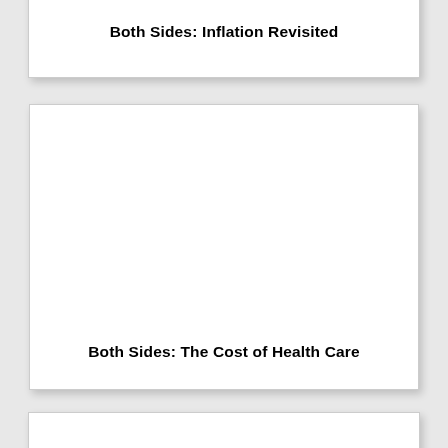Both Sides: Inflation Revisited
Both Sides: The Cost of Health Care